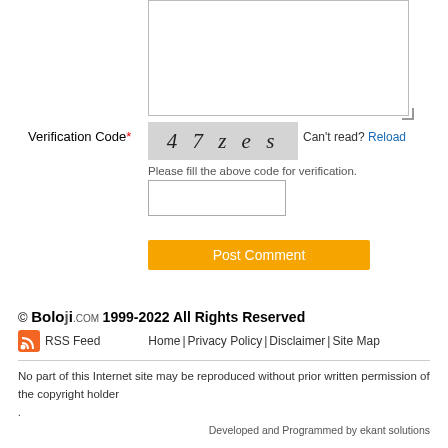[Figure (screenshot): Textarea input box (partially shown, top of page)]
Verification Code*
[Figure (screenshot): CAPTCHA image showing code '4 7 z e s' on gray background]
Can't read? Reload
Please fill the above code for verification.
[Figure (screenshot): Text input box for verification code]
[Figure (screenshot): Post Comment orange button]
© Boloji.com 1999-2022 All Rights Reserved
RSS Feed   Home | Privacy Policy | Disclaimer | Site Map
No part of this Internet site may be reproduced without prior written permission of the copyright holder
Developed and Programmed by ekant solutions